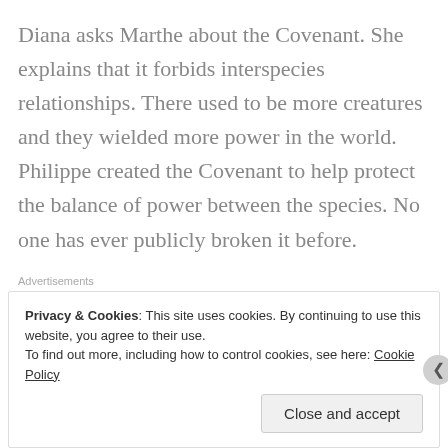Diana asks Marthe about the Covenant. She explains that it forbids interspecies relationships. There used to be more creatures and they wielded more power in the world. Philippe created the Covenant to help protect the balance of power between the species. No one has ever publicly broken it before.
Advertisements
[Figure (other): Pocket Casts advertisement banner. Red background with white text: 'An app by listeners, for listeners.' with Pocket Casts logo and image of a smartphone.]
REPORT THIS AD
Privacy & Cookies: This site uses cookies. By continuing to use this website, you agree to their use.
To find out more, including how to control cookies, see here: Cookie Policy
Close and accept